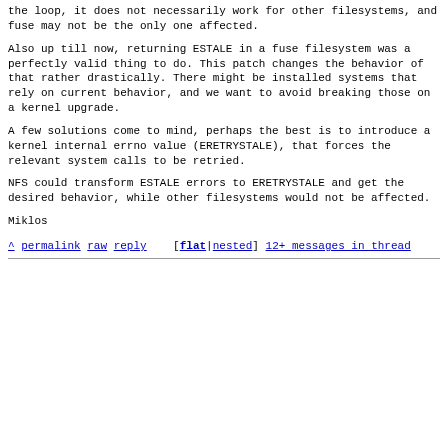the loop, it does not necessarily work for other filesystems, and fuse
may not be the only one affected.
Also up till now, returning ESTALE in a fuse filesystem was a
perfectly valid thing to do.  This patch changes the behavior of that
rather drastically.  There might be installed systems that rely on
current behavior, and we want to avoid breaking those on a kernel
upgrade.
A few solutions come to mind, perhaps the best is to introduce a
kernel internal errno value (ERETRYSTALE), that forces the relevant
system calls to be retried.
NFS could transform ESTALE errors to ERETRYSTALE and get the desired
behavior, while other filesystems would not be affected.
Miklos
^ permalink raw reply    [flat|nested] 12+ messages in thread